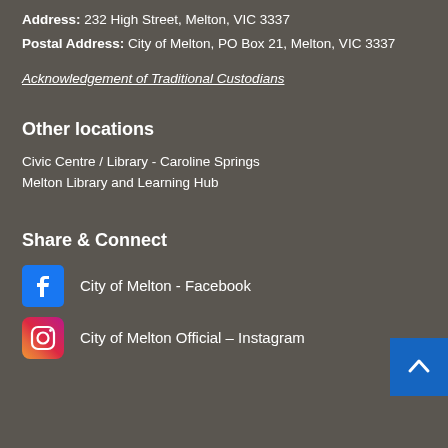Address: 232 High Street, Melton, VIC 3337
Postal Address: City of Melton, PO Box 21, Melton, VIC 3337
Acknowledgement of Traditional Custodians
Other locations
Civic Centre / Library - Caroline Springs
Melton Library and Learning Hub
Share & Connect
City of Melton - Facebook
City of Melton Official – Instagram